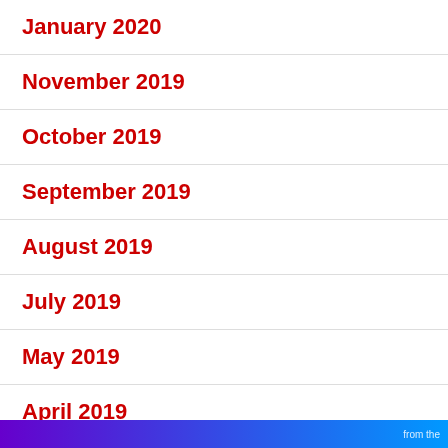January 2020
November 2019
October 2019
September 2019
August 2019
July 2019
May 2019
April 2019
Privacy & Cookies: This site uses cookies. By continuing to use this website, you agree to their use.
To find out more, including how to control cookies, see here: Cookie Policy
Close and accept